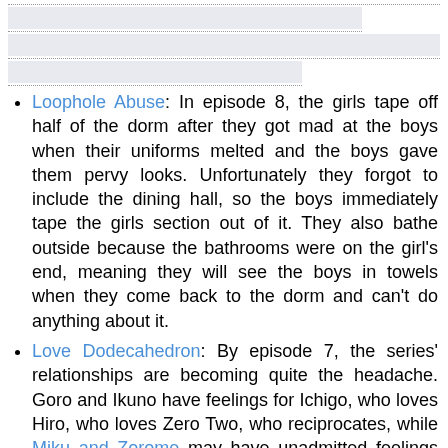[Figure (other): Top area with dotted lines and light blue/grey input-style boxes suggesting a form or header area]
Loophole Abuse: In episode 8, the girls tape off half of the dorm after they got mad at the boys when their uniforms melted and the boys gave them pervy looks. Unfortunately they forgot to include the dining hall, so the boys immediately tape the girls section out of it. They also bathe outside because the bathrooms were on the girl's end, meaning they will see the boys in towels when they come back to the dorm and can't do anything about it.
Love Dodecahedron: By episode 7, the series' relationships are becoming quite the headache. Goro and Ikuno have feelings for Ichigo, who loves Hiro, who loves Zero Two, who reciprocates, while Miku and Zorome may have unadmitted feelings for each other. And theres a seperate Love Triangle between Mitsuru, Kokoro, and Futoshi. What makes it a headache is that outside of Zero